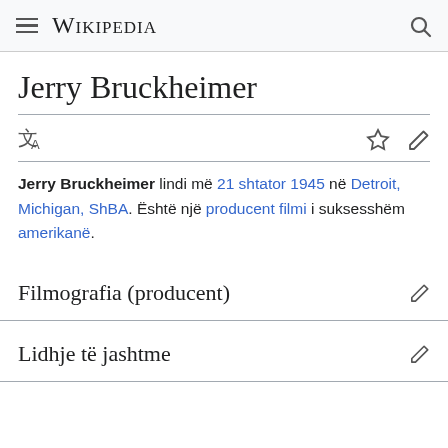Wikipedia
Jerry Bruckheimer
Jerry Bruckheimer lindi më 21 shtator 1945 në Detroit, Michigan, ShBA. Është një producent filmi i suksesshëm amerikanë.
Filmografia (producent)
Lidhje të jashtme